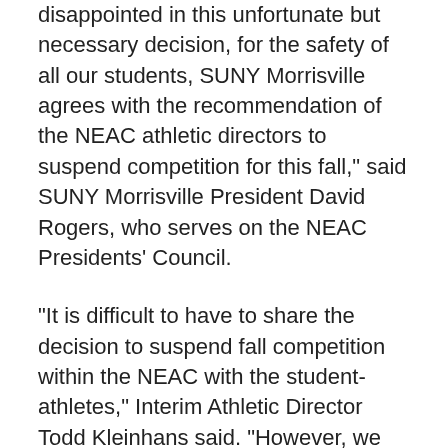disappointed in this unfortunate but necessary decision, for the safety of all our students, SUNY Morrisville agrees with the recommendation of the NEAC athletic directors to suspend competition for this fall," said SUNY Morrisville President David Rogers, who serves on the NEAC Presidents' Council.
"It is difficult to have to share the decision to suspend fall competition within the NEAC with the student-athletes," Interim Athletic Director Todd Kleinhans said. "However, we support the NEAC's decision and appreciate that it puts the health and safety of our students, faculty, staff and campus community as a priority.
"Our student-athletes, coaches and staff have